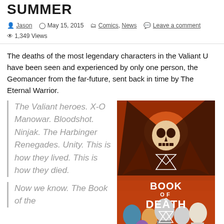SUMMER
Jason   May 15, 2015   Comics, News   Leave a comment   1,349 Views
The deaths of the most legendary characters in the Valiant U have been seen and experienced by only one person, the Geomancer from the far-future, sent back in time by The Eternal Warrior.
The Valiant heroes. X-O Manowar. Bloodshot. Ninjak. The Harbinger Renegades. Unity. This is how they lived. This is how they died.
[Figure (illustration): Book of Death comic book cover showing a hooded skeletal figure looming over Valiant heroes, with the title BOOK OF DEATH displayed prominently with geometric triangle symbols]
Now we know. The Book of the